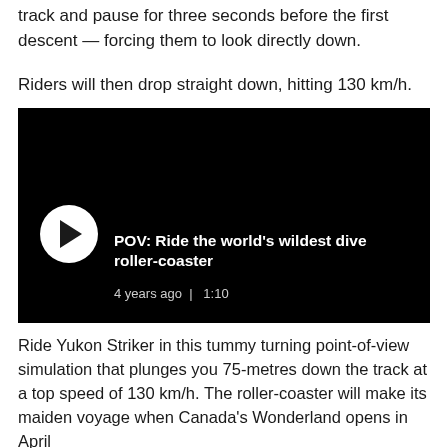track and pause for three seconds before the first descent — forcing them to look directly down.
Riders will then drop straight down, hitting 130 km/h.
[Figure (screenshot): Embedded video player with black background showing title 'POV: Ride the world's wildest dive roller-coaster', with a play button, timestamp '4 years ago | 1:10']
Ride Yukon Striker in this tummy turning point-of-view simulation that plunges you 75-metres down the track at a top speed of 130 km/h. The roller-coaster will make its maiden voyage when Canada's Wonderland opens in April